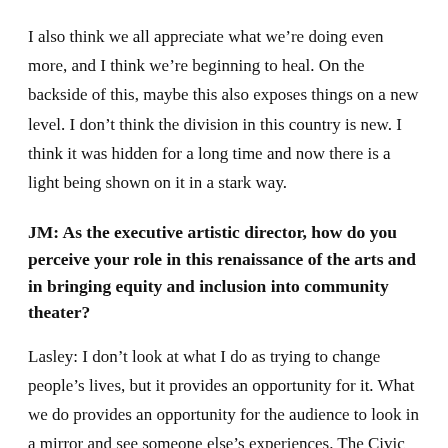I also think we all appreciate what we're doing even more, and I think we're beginning to heal. On the backside of this, maybe this also exposes things on a new level. I don't think the division in this country is new. I think it was hidden for a long time and now there is a light being shown on it in a stark way.
JM: As the executive artistic director, how do you perceive your role in this renaissance of the arts and in bringing equity and inclusion into community theater?
Lasley: I don't look at what I do as trying to change people's lives, but it provides an opportunity for it. What we do provides an opportunity for the audience to look in a mirror and see someone else's experiences. The Civic